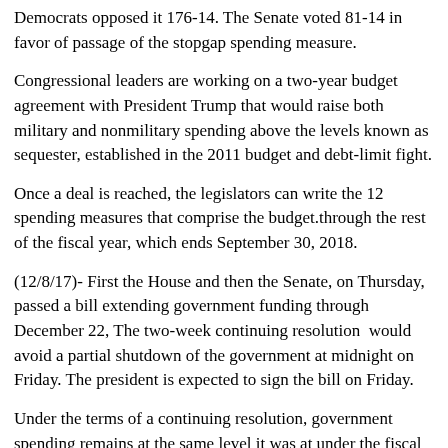Democrats opposed it 176-14. The Senate voted 81-14 in favor of passage of the stopgap spending measure.
Congressional leaders are working on a two-year budget agreement with President Trump that would raise both military and nonmilitary spending above the levels known as sequester, established in the 2011 budget and debt-limit fight.
Once a deal is reached, the legislators can write the 12 spending measures that comprise the budget.through the rest of the fiscal year, which ends September 30, 2018.
(12/8/17)- First the House and then the Senate, on Thursday, passed a bill extending government funding through December 22, The two-week continuing resolution  would avoid a partial shutdown of the government at midnight on Friday. The president is expected to sign the bill on Friday.
Under the terms of a continuing resolution, government spending remains at the same level it was at under the fiscal year 2016-2017 budget.
(12/5/17)- The House of Representatives is expected to vote Thurs. December 7 on the 2 week continuing resolution that would keep the government funded through December 22. Conservative Republicans and some Democrats have voiced their opposition to